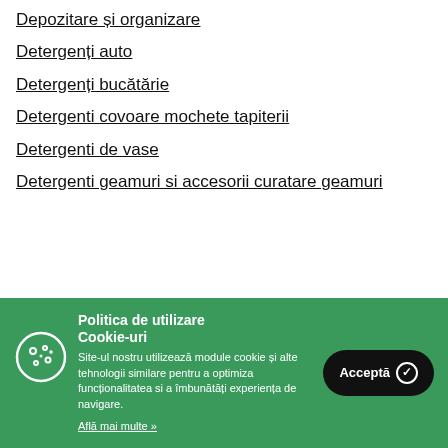Depozitare și organizare
Detergenți auto
Detergenți bucătărie
Detergenti covoare mochete tapiterii
Detergenti de vase
Detergenti geamuri si accesorii curatare geamuri
Politica de utilizare Cookie-uri
Site-ul nostru utilizează module cookie și alte tehnologii similare pentru a optimiza funcționalitatea si a îmbunătăți experiența de navigare.
Află mai multe »